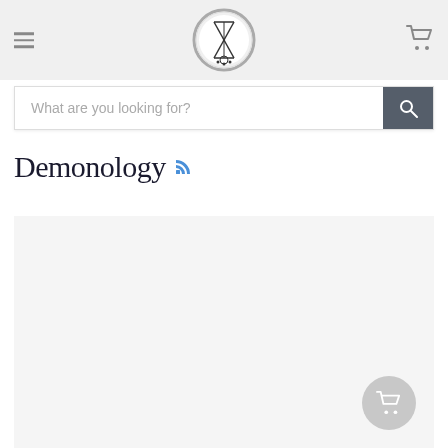Navigation header with hamburger menu, logo, and cart icon
What are you looking for?
Demonology
[Figure (other): Content area placeholder card with light gray background and floating cart widget in bottom right]